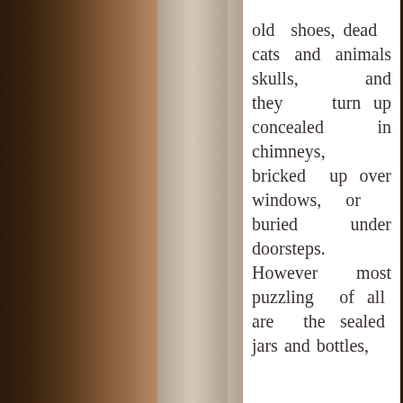[Figure (photo): Background showing bookshelves with old leather-bound books on left and right sides, with stone pillars framing a central white text panel]
old shoes, dead cats and animals skulls, and they turn up concealed in chimneys, bricked up over windows, or buried under doorsteps. However most puzzling of all are the sealed jars and bottles,